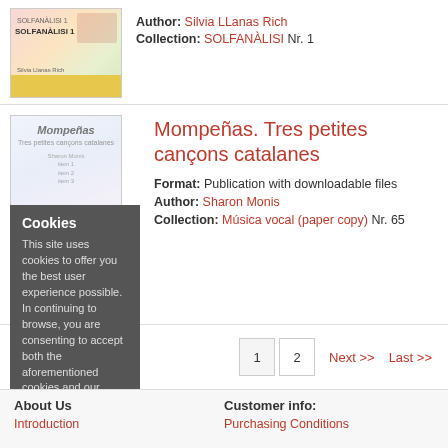[Figure (illustration): Book cover for SOLFANÀLISI 1 by Silvia Llanas Rich, colorful cover with musical notation graphics and yellow bottom stripe]
Author: Silvia LLanas Rich
Collection: SOLFANÀLISI Nr. 1
[Figure (illustration): Book cover for Mompeñas. Tres petites cançons catalanes by Sharon Monis, light blue/purple floral cover]
Cookies
This site uses cookies to offer you the best user experience possible. In continuing to browse, you are consenting to accept both the aforementioned cookies and our cookies policy.
Mompeñas. Tres petites cançons catalanes
Format: Publication with downloadable files
Author: Sharon Monis
Collection: Música vocal (paper copy) Nr. 65
1  2  Next >>  Last >>
About Us
Introduction
Customer info:
Purchasing Conditions